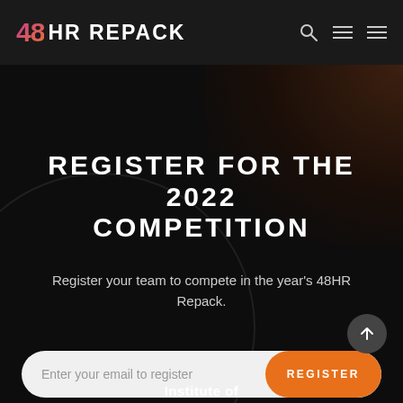48 HR REPACK
REGISTER FOR THE 2022 COMPETITION
Register your team to compete in the year's 48HR Repack.
Enter your email to register  REGISTER
Institute of